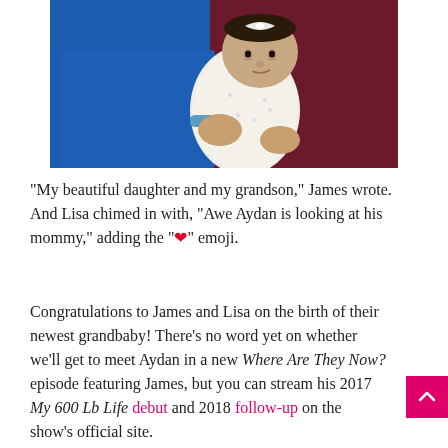[Figure (photo): A baby in a white patterned onesie being held up by an adult in a blue shirt, with a dark red background. The baby appears to be looking at the camera.]
“My beautiful daughter and my grandson,” James wrote. And Lisa chimed in with, “Awe Aydan is looking at his mommy,” adding the "❤️" emoji.
Congratulations to James and Lisa on the birth of their newest grandbaby! There’s no word yet on whether we’ll get to meet Aydan in a new Where Are They Now? episode featuring James, but you can stream his 2017 My 600 Lb Life debut and 2018 follow-up on the show’s official site.